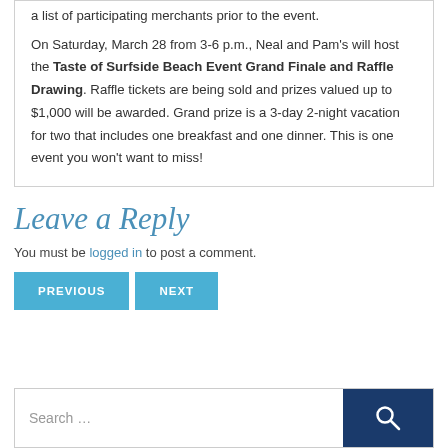a list of participating merchants prior to the event.

On Saturday, March 28 from 3-6 p.m., Neal and Pam's will host the Taste of Surfside Beach Event Grand Finale and Raffle Drawing. Raffle tickets are being sold and prizes valued up to $1,000 will be awarded. Grand prize is a 3-day 2-night vacation for two that includes one breakfast and one dinner. This is one event you won't want to miss!
Leave a Reply
You must be logged in to post a comment.
PREVIOUS  NEXT
Search …